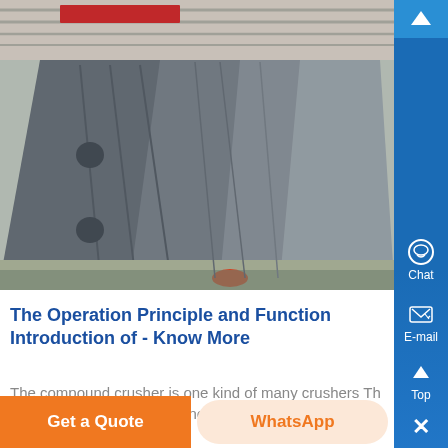[Figure (photo): Industrial manufacturing facility showing large grey metal crusher/screening machine frames lined up on a factory floor with red overhead cranes visible in the background.]
The Operation Principle and Function Introduction of - Know More
The compound crusher is one kind of many crushers The crusher refers to the machine that can produce final si...